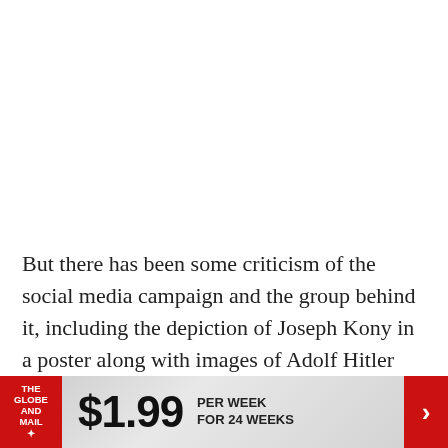But there has been some criticism of the social media campaign and the group behind it, including the depiction of Joseph Kony in a poster along with images of Adolf Hitler and Osama bin Laden.
"It is ridiculous to compare Joseph Kony with the
[Figure (other): Advertisement banner for The Globe and Mail newspaper subscription offer: $1.99 per week for 24 weeks, with red logo on left and red arrow button on right.]